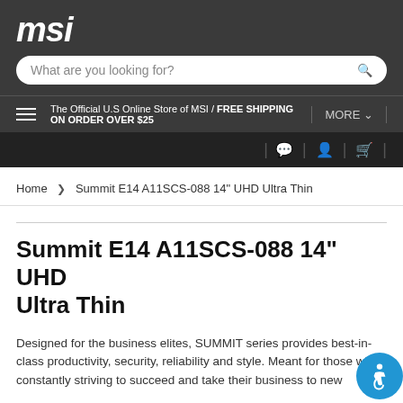msi
What are you looking for?
The Official U.S Online Store of MSI / FREE SHIPPING ON ORDER OVER $25
MORE
Home > Summit E14 A11SCS-088 14" UHD Ultra Thin
Summit E14 A11SCS-088 14" UHD Ultra Thin
Designed for the business elites, SUMMIT series provides best-in-class productivity, security, reliability and style. Meant for those who's constantly striving to succeed and take their business to new